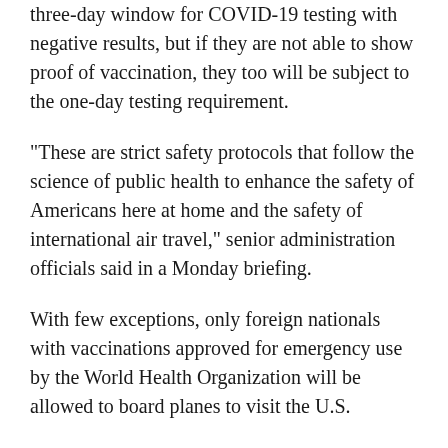three-day window for COVID-19 testing with negative results, but if they are not able to show proof of vaccination, they too will be subject to the one-day testing requirement.
"These are strict safety protocols that follow the science of public health to enhance the safety of Americans here at home and the safety of international air travel," senior administration officials said in a Monday briefing.
With few exceptions, only foreign nationals with vaccinations approved for emergency use by the World Health Organization will be allowed to board planes to visit the U.S.
What are the exceptions?
Senior administration officials stressed that exceptions to vaccine requirements for foreign visitors would be rare but would be made...